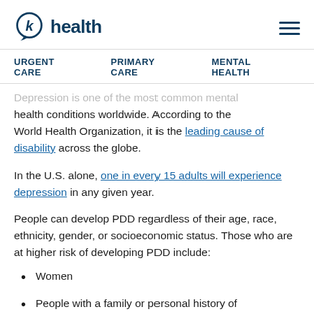k health
URGENT CARE  PRIMARY CARE  MENTAL HEALTH
Depression is one of the most common mental health conditions worldwide. According to the World Health Organization, it is the leading cause of disability across the globe.
In the U.S. alone, one in every 15 adults will experience depression in any given year.
People can develop PDD regardless of their age, race, ethnicity, gender, or socioeconomic status. Those who are at higher risk of developing PDD include:
Women
People with a family or personal history of